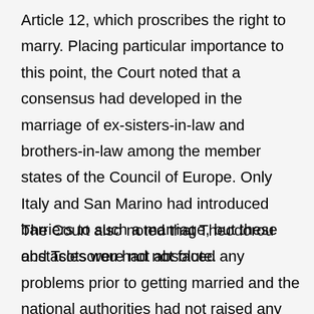Article 12, which proscribes the right to marry. Placing particular importance to this point, the Court noted that a consensus had developed in the marriage of ex-sisters-in-law and brothers-in-law among the member states of the Council of Europe. Only Italy and San Marino had introduced barriers to such a marriage, but these obstacles were not absolute.
The Court also noted that Theodorou and Tsotsorou had not faced any problems prior to getting married and the national authorities had not raised any objections. Tsotsorou's sister had not complained about the marriage until